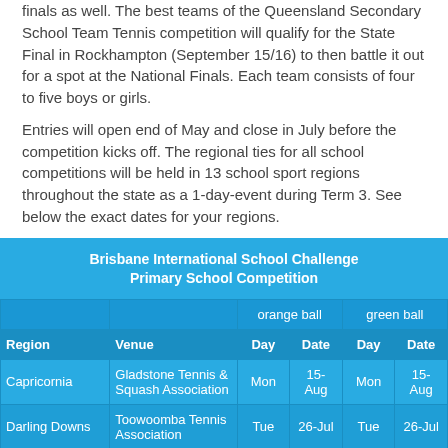finals as well. The best teams of the Queensland Secondary School Team Tennis competition will qualify for the State Final in Rockhampton (September 15/16) to then battle it out for a spot at the National Finals. Each team consists of four to five boys or girls.
Entries will open end of May and close in July before the competition kicks off. The regional ties for all school competitions will be held in 13 school sport regions throughout the state as a 1-day-event during Term 3. See below the exact dates for your regions.
| Region | Venue | orange ball Day | orange ball Date | green ball Day | green ball Date |
| --- | --- | --- | --- | --- | --- |
| Capricornia | Gladstone Tennis & Squash Association | Mon | 15-Aug | Mon | 15-Aug |
| Darling Downs | Toowoomba Tennis Association | Tue | 26-Jul | Tue | 26-Jul |